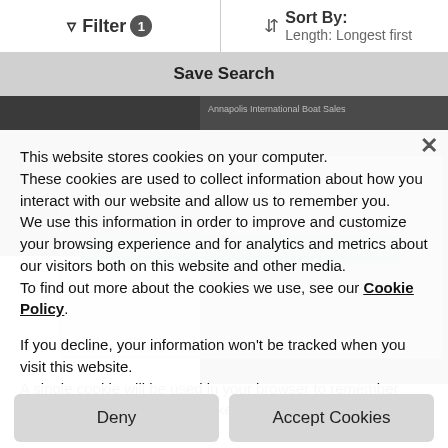Filter 1 | Sort By: Length: Longest first
Save Search
[Figure (screenshot): Background boat listing page partially visible behind cookie consent dialog]
This website stores cookies on your computer. These cookies are used to collect information about how you interact with our website and allow us to remember you. We use this information in order to improve and customize your browsing experience and for analytics and metrics about our visitors both on this website and other media. To find out more about the cookies we use, see our Cookie Policy.
If you decline, your information won't be tracked when you visit this website. A single cookie will be used in your browser to remember your preference not to be tracked.
Deny
Accept Cookies
2021 Silent 55 Demonstrator